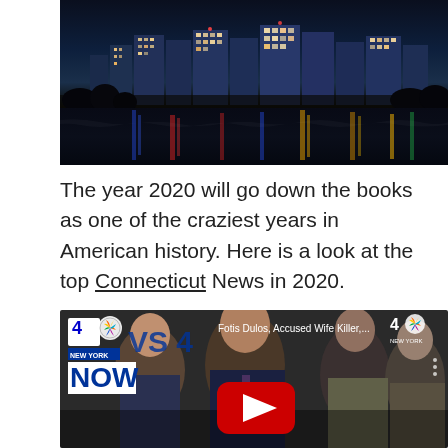[Figure (photo): Night skyline photo of a Connecticut city (Hartford) with buildings reflected in a river below, colorful reflections of blue, red, and yellow lights on the water, bare trees in the foreground.]
The year 2020 will go down the books as one of the craziest years in American history. Here is a look at the top Connecticut News in 2020.
[Figure (screenshot): YouTube video thumbnail from NBC 4 New York showing 'Fotis Dulos, Accused Wife Killer,...' with NOW banner and NBC logos, featuring men in suits in what appears to be a courtroom, with a red YouTube play button overlay in the center.]